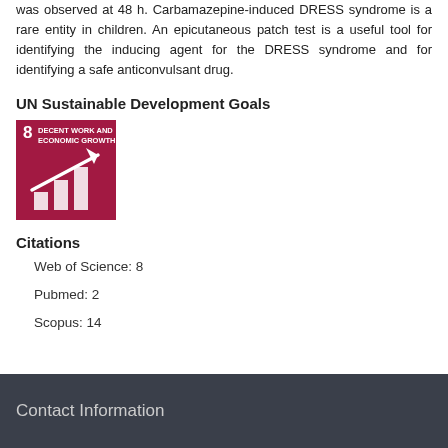was observed at 48 h. Carbamazepine-induced DRESS syndrome is a rare entity in children. An epicutaneous patch test is a useful tool for identifying the inducing agent for the DRESS syndrome and for identifying a safe anticonvulsant drug.
UN Sustainable Development Goals
[Figure (logo): UN SDG Goal 8: Decent Work and Economic Growth icon — crimson/dark red square with white text and a bar chart with upward arrow graphic]
Citations
Web of Science: 8
Pubmed: 2
Scopus: 14
Contact Information